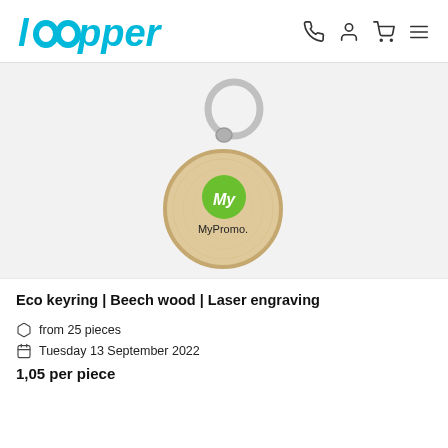loopper
[Figure (photo): A round beech wood eco keyring with a metal split ring, featuring a green circular logo with 'My' text and 'MyPromo.' printed on the wood surface.]
Eco keyring | Beech wood | Laser engraving
from 25 pieces
Tuesday 13 September 2022
1,05 per piece